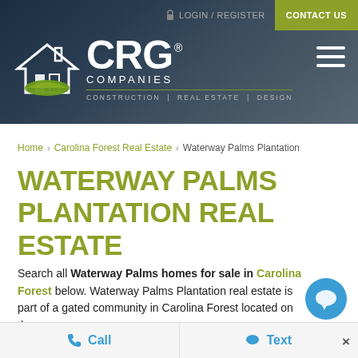[Figure (screenshot): CRG Companies website header with dark navy background, CRG Companies logo with house icon and green leaf, LOGIN/REGISTER and CONTACT US navigation, hamburger menu icon]
Home > Carolina Forest Real Estate > Waterway Palms Plantation
WATERWAY PALMS PLANTATION REAL ESTATE
Search all Waterway Palms homes for sale in Carolina Forest below. Waterway Palms Plantation real estate is part of a gated community in Carolina Forest located on the
[Figure (other): Blue circular chat icon partially visible at bottom right]
Call   Text   ×